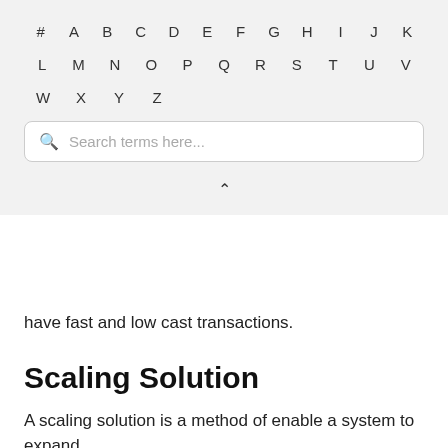[Figure (screenshot): Alphabetical navigation index with letters # A B C D E F G H I J K L M N O P Q R S T U V W X Y Z displayed in a grid, followed by a search box with placeholder text 'Search terms here...' and a chevron up arrow below]
have fast and low cast transactions.
Scaling Solution
A scaling solution is a method of enable a system to expand.